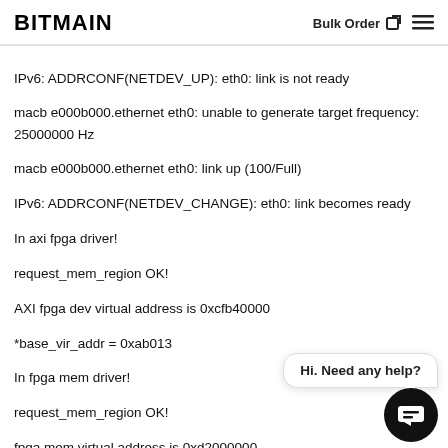BITMAIN — Bulk Order
IPv6: ADDRCONF(NETDEV_UP): eth0: link is not ready
macb e000b000.ethernet eth0: unable to generate target frequency: 25000000 Hz
macb e000b000.ethernet eth0: link up (100/Full)
IPv6: ADDRCONF(NETDEV_CHANGE): eth0: link becomes ready
In axi fpga driver!
request_mem_region OK!
AXI fpga dev virtual address is 0xcfb40000
*base_vir_addr = 0xab013
In fpga mem driver!
request_mem_region OK!
fpga mem virtual address is 0xd2000000
2022-05-20 10:40:35 driver-btm-api.c:663:init_freq_mode: This is scan-user version
2022-05-20 10:40:35 driver-btm-